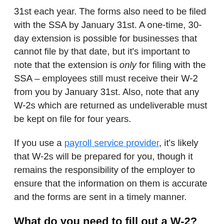31st each year. The forms also need to be filed with the SSA by January 31st. A one-time, 30-day extension is possible for businesses that cannot file by that date, but it's important to note that the extension is only for filing with the SSA – employees still must receive their W-2 from you by January 31st. Also, note that any W-2s which are returned as undeliverable must be kept on file for four years.
If you use a payroll service provider, it's likely that W-2s will be prepared for you, though it remains the responsibility of the employer to ensure that the information on them is accurate and the forms are sent in a timely manner.
What do you need to fill out a W-2?
When you're ready to complete your W-2s for the year, you will need the following information at